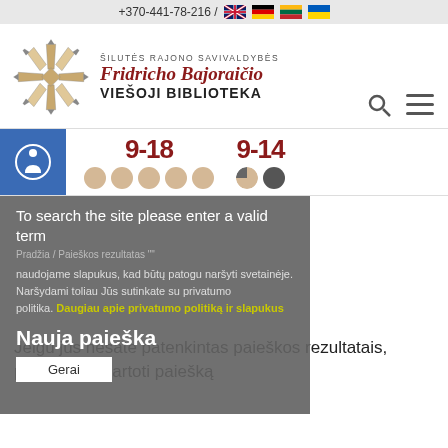+370-441-78-216 / [flags: EN, DE, LT, UA]
[Figure (logo): Šilutės rajono savivaldybės Fridricho Bajoraičio Viešoji Biblioteka logo with geometric snowflake-like emblem]
ŠILUTĖS RAJONO SAVIVALDYBĖS Fridricho Bajoraičio VIEŠOJI BIBLIOTEKA
[Figure (infographic): Opening hours: 9-18 (5 light circles for weekdays), 9-14 (half and full dark circle for Saturday/Sunday). Accessibility icon in blue square.]
To search the site please enter a valid term
Pradžia / Paieškos rezultatas ""
naudojame slapukus, kad būtų patogu naršyti svetainėje. Naršydami toliau Jūs sutinkate su privatumo politika. Daugiau apie privatumo politiką ir slapukus
Nauja paieška
Gerai
Jeigu jūs nesate patenkintas paieškos rezultatais, prašome pakartoti paiešką